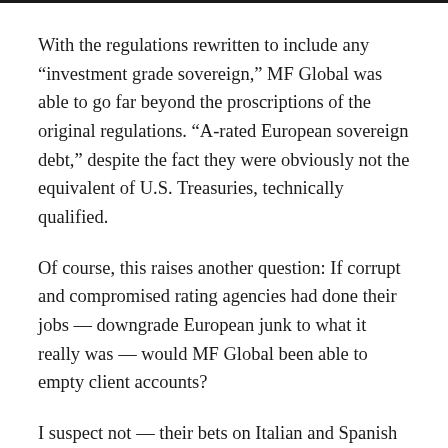With the regulations rewritten to include any “investment grade sovereign,” MF Global was able to go far beyond the proscriptions of the original regulations. “A-rated European sovereign debt,” despite the fact they were obviously not the equivalent of U.S. Treasuries, technically qualified.
Of course, this raises another question: If corrupt and compromised rating agencies had done their jobs — downgrade European junk to what it really was — would MF Global been able to empty client accounts?
I suspect not — their bets on Italian and Spanish sovereign debt should have been downgraded below “A” many moons ago. That it was not merely serves to remind us that these incompetent credit-rating agencies are still part of our regulatory firmament.